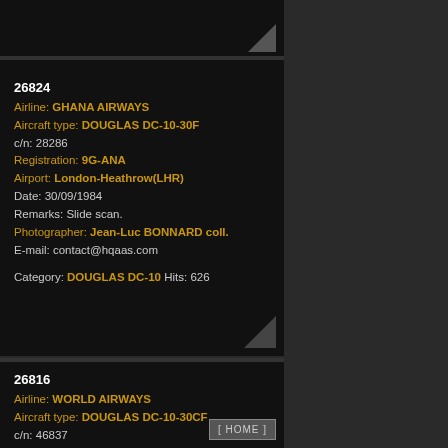[Figure (photo): Top partial aircraft photo card, dark background]
26824
Airline: GHANA AIRWAYS
Aircraft type: DOUGLAS DC-10-30F
c/n: 28286
Registration: 9G-ANA
Airport: London-Heathrow(LHR)
Date: 30/09/1984
Remarks: Slide scan.
Photographer: Jean-Luc BONNARD coll.
E-mail: contact@hqaas.com

Category: DOUGLAS DC-10 Hits: 626
[Figure (photo): Bottom partial aircraft photo card, dark background]
26816
Airline: WORLD AIRWAYS
Aircraft type: DOUGLAS DC-10-30CF
c/n: 46837
Registration: N108WA
Airport: Frankfurt-Rhein Main(FRA)
Date: ***
Remarks: Slide scan.
Photographer: Jean-Luc BONNARD coll.